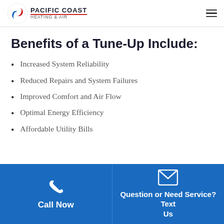Pacific Coast Heating & Air
Benefits of a Tune-Up Include:
Increased System Reliability
Reduced Repairs and System Failures
Improved Comfort and Air Flow
Optimal Energy Efficiency
Affordable Utility Bills
Call Now
Question or Need Service? Text Us